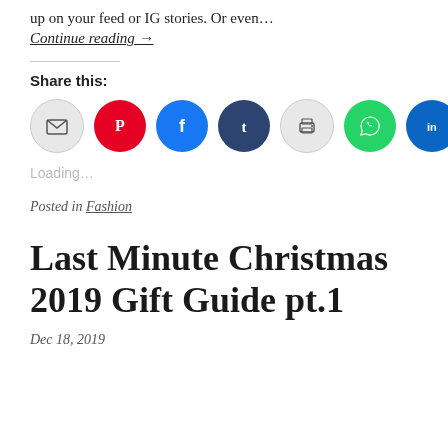up on your feed or IG stories. Or even…
Continue reading →
Share this:
[Figure (infographic): Row of 7 social share icon circles: email (gray), Pinterest (red), Facebook (blue), Tumblr (dark navy), print (gray), WhatsApp (green), LinkedIn (teal/blue)]
Loading…
Posted in Fashion
Last Minute Christmas 2019 Gift Guide pt.1
Dec 18, 2019